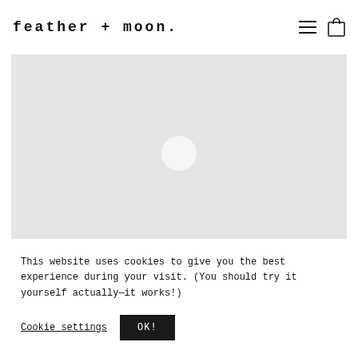feather + moon.
[Figure (photo): Large hero image area with light gray background and a white loading circle in the center]
This website uses cookies to give you the best experience during your visit. (You should try it yourself actually—it works!)
Cookie settings | OK!